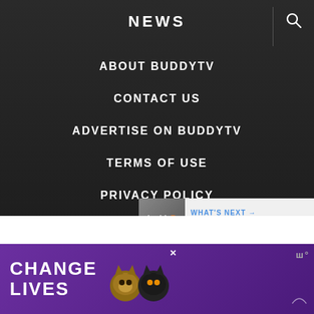NEWS
ABOUT BUDDYTV
CONTACT US
ADVERTISE ON BUDDYTV
TERMS OF USE
PRIVACY POLICY
DMCA / INFRINGEMENT
© 2022 BUDDYTV.  ALL RIGHTS RESERVED.
EXCLUSIVE MEMBER OF MEDIAVINE FOOD
[Figure (screenshot): WHAT'S NEXT → Evan Seinfeld promotional bar with BuddyTV avatar]
[Figure (photo): Advertisement banner: CHANGE LIVES with cat photos on purple background]